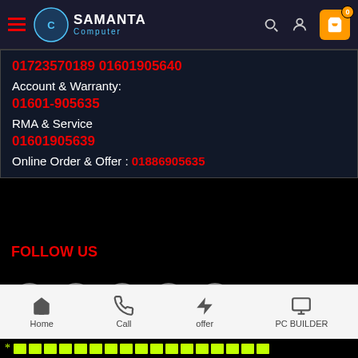[Figure (logo): Samanta Computer logo with circular icon and text]
01723570189 01601905640
Account & Warranty:
01601-905635
RMA & Service
01601905639
Online Order & Offer : 01886905635
FOLLOW US
[Figure (infographic): Social media icons: Messenger, Facebook, Twitter, YouTube, LinkedIn]
Home  Call  offer  PC BUILDER